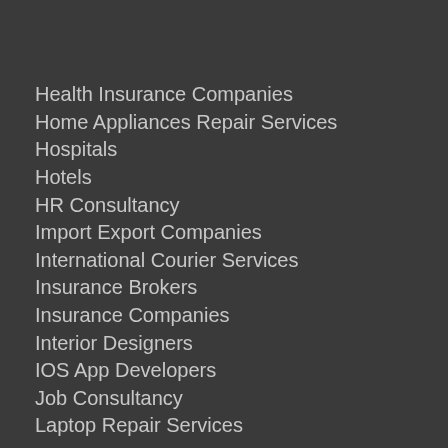Health Insurance Companies
Home Appliances Repair Services
Hospitals
Hotels
HR Consultancy
Import Export Companies
International Courier Services
Insurance Brokers
Insurance Companies
Interior Designers
IOS App Developers
Job Consultancy
Laptop Repair Services